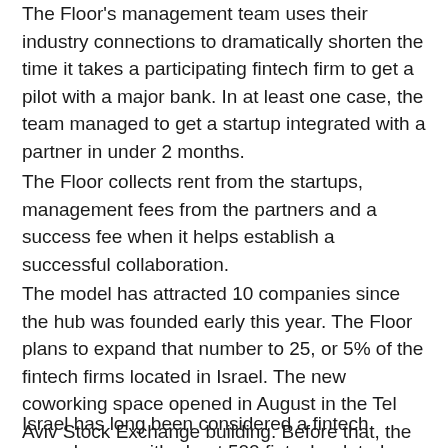The Floor's management team uses their industry connections to dramatically shorten the time it takes a participating fintech firm to get a pilot with a major bank. In at least one case, the team managed to get a startup integrated with a partner in under 2 months.
The Floor collects rent from the startups, management fees from the partners and a success fee when it helps establish a successful collaboration.
The model has attracted 10 companies since the hub was founded early this year. The Floor plans to expand that number to 25, or 5% of the fintech firms located in Israel. The new coworking space opened in August in the Tel Aviv Stock Exchange building. Before that, the companies worked in their own spaces. One company relocated from Russia to join The Floor.
Israel has long been considered a fintech powerhouse, with about 500 fintech related startups in a country of about 8